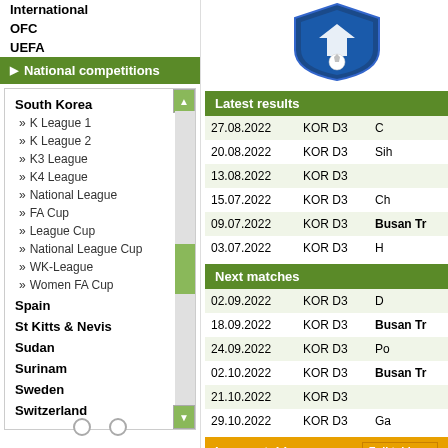International
OFC
UEFA
National competitions
South Korea
K League 1
K League 2
K3 League
K4 League
National League
FA Cup
League Cup
National League Cup
WK-League
Women FA Cup
Spain
St Kitts & Nevis
Sudan
Surinam
Sweden
Switzerland
[Figure (logo): Busan Transportation Corporation football club shield logo]
Latest results
| Date | League | Team |
| --- | --- | --- |
| 27.08.2022 | KOR D3 | C… |
| 20.08.2022 | KOR D3 | Sih… |
| 13.08.2022 | KOR D3 |  |
| 15.07.2022 | KOR D3 | Ch… |
| 09.07.2022 | KOR D3 | Busan Tr… |
| 03.07.2022 | KOR D3 | H… |
Next matches
| Date | League | Team |
| --- | --- | --- |
| 02.09.2022 | KOR D3 | D… |
| 18.09.2022 | KOR D3 | Busan Tr… |
| 24.09.2022 | KOR D3 | Po… |
| 02.10.2022 | KOR D3 | Busan Tr… |
| 21.10.2022 | KOR D3 |  |
| 29.10.2022 | KOR D3 | Ga… |
League table
| Pos. | Team |
| --- | --- |
| 1 | Siheung Citizen |